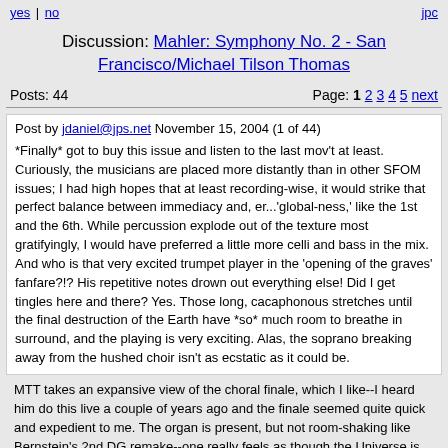yes | no   jpc
Discussion: Mahler: Symphony No. 2 - San Francisco/Michael Tilson Thomas
Posts: 44   Page: 1 2 3 4 5 next
Post by jdaniel@jps.net November 15, 2004 (1 of 44)
*Finally* got to buy this issue and listen to the last mov't at least. Curiously, the musicians are placed more distantly than in other SFOM issues; I had high hopes that at least recording-wise, it would strike that perfect balance between immediacy and, er...'global-ness,' like the 1st and the 6th. While percussion explode out of the texture most gratifyingly, I would have preferred a little more celli and bass in the mix. And who is that very excited trumpet player in the 'opening of the graves' fanfare?!? His repetitive notes drown out everything else! Did I get tingles here and there? Yes. Those long, cacaphonous stretches until the final destruction of the Earth have *so* much room to breathe in surround, and the playing is very exciting. Alas, the soprano breaking away from the hushed choir isn't as ecstatic as it could be.
MTT takes an expansive view of the choral finale, which I like--I heard him do this live a couple of years ago and the finale seemed quite quick and expedient to me. The organ is present, but not room-shaking like Bernstein's 2nd DG remake--one really feels as though the Universe is vibrating with that set of pipes. Again, a little more immediacy would